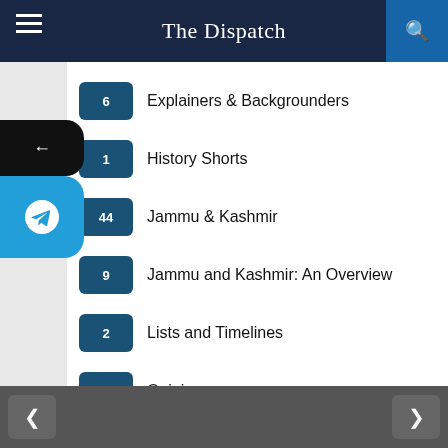The Dispatch
6  Explainers & Backgrounders
1  History Shorts
44  Jammu & Kashmir
9  Jammu and Kashmir: An Overview
2  Lists and Timelines
909  Opinion
11  Past in Pictures
118  The Dispatch Videos
6,904  The Lead
9,319  The Newsfeed